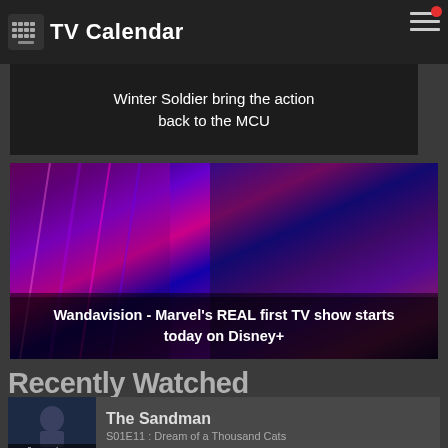TV Calendar
Winter Soldier bring the action back to the MCU
[Figure (photo): WandaVision promotional image with colorful psychedelic background featuring two characters]
Wandavision - Marvel's REAL first TV show starts today on Disney+
Recently Watched
The Sandman | 9 seconds ago | S01E11 : Dream of a Thousand Cats
X-Men: The Animated Series